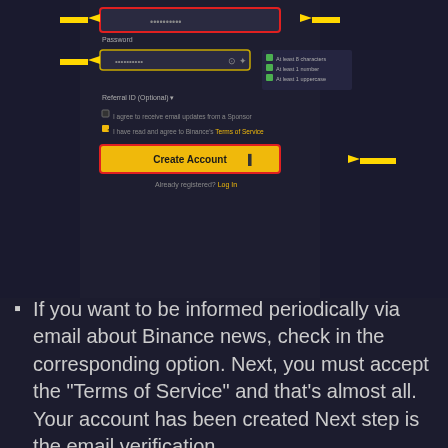[Figure (screenshot): Screenshot of Binance account registration form with highlighted fields (password field and Create Account button) indicated by yellow arrows. The form shows fields for password, referral ID, email subscription checkbox, Terms of Service checkbox, and a Create Account button highlighted in yellow/orange.]
If you want to be informed periodically via email about Binance news, check in the corresponding option. Next, you must accept the "Terms of Service" and that's almost all. Your account has been created Next step is the email verification
[Figure (other): Yellow rounded rectangle button with bold black text reading BUY NANO BINANCE]
[Figure (other): Circular scroll-to-top button with cyan/blue arrow pointing upward on dark background]
Binance will automatically send a one-time-only